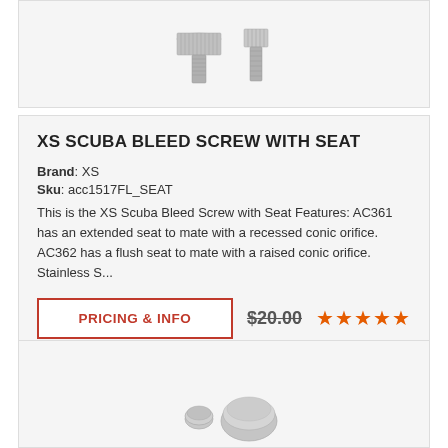[Figure (photo): Partial view of XS Scuba bleed screws, two metallic screws shown against light background (cropped at top)]
XS SCUBA BLEED SCREW WITH SEAT
Brand: XS
Sku: acc1517FL_SEAT
This is the XS Scuba Bleed Screw with Seat Features: AC361 has an extended seat to mate with a recessed conic orifice. AC362 has a flush seat to mate with a raised conic orifice. Stainless S...
PRICING & INFO
$20.00
[Figure (photo): Partial view of another scuba product, metallic parts shown from top (cropped at bottom)]